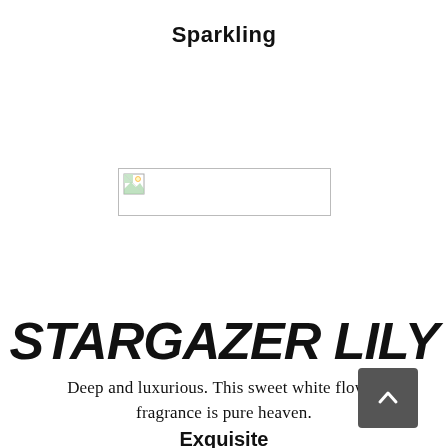Sparkling
[Figure (photo): Broken/missing image placeholder with small icon, inside a rectangular border]
STARGAZER LILY
Deep and luxurious. This sweet white flower fragrance is pure heaven.
Exquisite